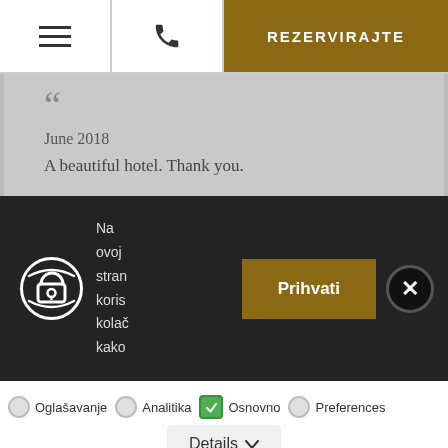[Figure (screenshot): Hotel website navigation bar with hamburger menu icon, phone icon, and gold 'REZERVIRAJTE' button]
““
June 2018
A beautiful hotel. Thank you.
[Figure (screenshot): Cookie consent overlay on dark background with lock/privacy icon, partial text 'Na ovoj stran koris kolač kako', gold 'Prihvati' button, and black X close button]
Oglašavanje
Analitika
Osnovno
Preferences
Details